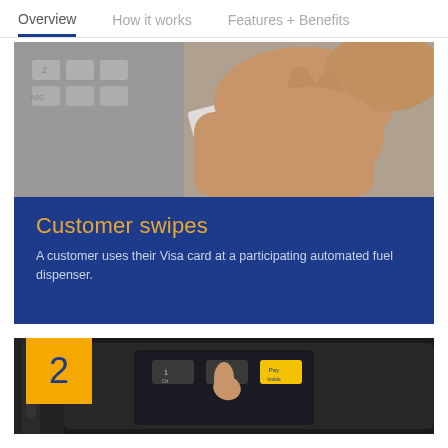Overview    How it works    Features + Benefits
[Figure (photo): Close-up of a hand swiping a card at an automated fuel dispenser keypad]
Customer swipes
A customer uses their Visa card at a participating automated fuel dispenser.
[Figure (photo): A fuel dispenser payment terminal with number keypad and a yellow number 2 badge overlaid]